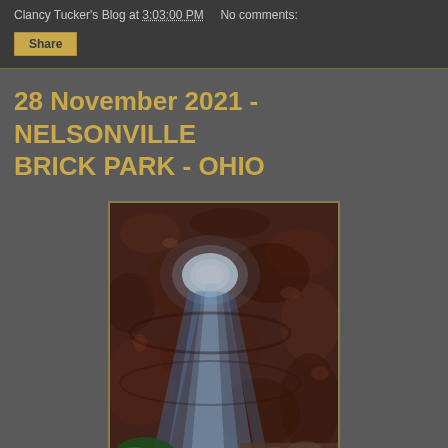Clancy Tucker's Blog at 3:03:00 PM    No comments:
Share
28 November 2021 - NELSONVILLE BRICK PARK - OHIO
[Figure (photo): Nighttime photo looking up through a circular brick tunnel opening with a beam of blue-white light shining down from an illuminated oval at the top, surrounded by dark reddish-brown brick walls, with green foliage visible at the bottom.]